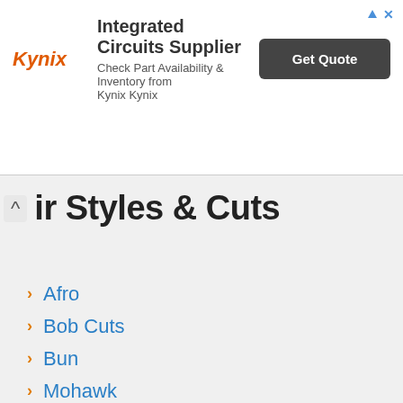[Figure (other): Kynix advertisement banner for Integrated Circuits Supplier with logo, text, and Get Quote button]
Hair Styles & Cuts
Afro
Bob Cuts
Bun
Mohawk
Ponytail
Twist
Updo
Wedding